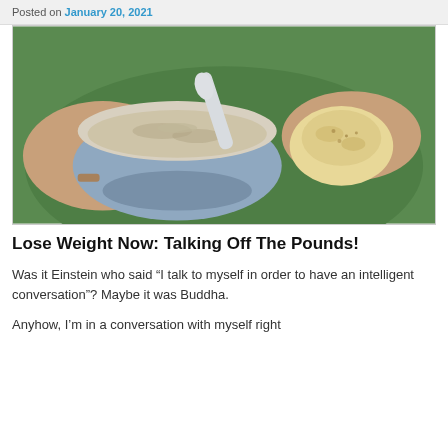Posted on January 20, 2021
[Figure (photo): Person wearing a green shirt holding a blue ceramic bowl of oats with a spoon, and a bread roll in the other hand.]
Lose Weight Now: Talking Off The Pounds!
Was it Einstein who said “I talk to myself in order to have an intelligent conversation”? Maybe it was Buddha.
Anyhow, I’m in a conversation with myself right